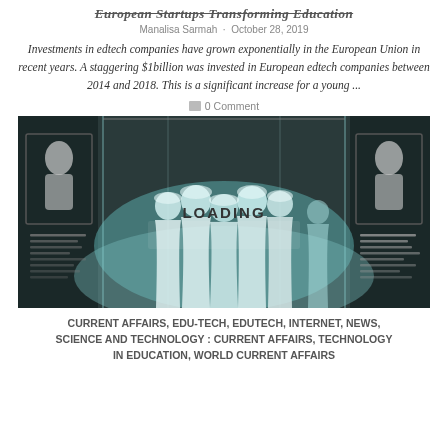European Startups Transforming Education
Manalisa Sarmah · October 28, 2019
Investments in edtech companies have grown exponentially in the European Union in recent years. A staggering $1billion was invested in European edtech companies between 2014 and 2018. This is a significant increase for a young ...
0 Comment
[Figure (photo): Group of men in traditional white Gulf Arab dress (thobes and ghutras) standing in a dark high-tech exhibition hall with illuminated portrait panels on either side. A 'LOADING' label overlays the center of the image.]
CURRENT AFFAIRS, EDU-TECH, EDUTECH, INTERNET, NEWS, SCIENCE AND TECHNOLOGY : CURRENT AFFAIRS, TECHNOLOGY IN EDUCATION, WORLD CURRENT AFFAIRS